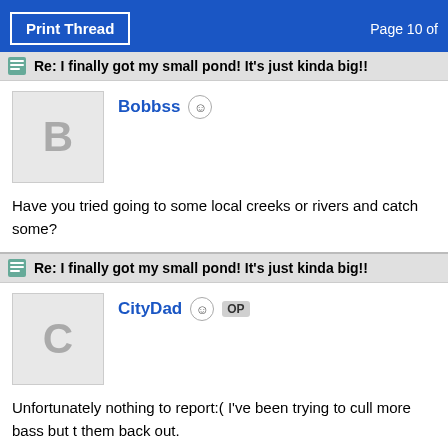Print Thread   Page 10 of
Re: I finally got my small pond! It's just kinda big!!
Bobbss
Have you tried going to some local creeks or rivers and catch some?
Re: I finally got my small pond! It's just kinda big!!
CityDad OP
Unfortunately nothing to report:( I've been trying to cull more bass but them back out.

If Only I was good at this :-p

In february Im going to ask a bunch of people in local fishing groups